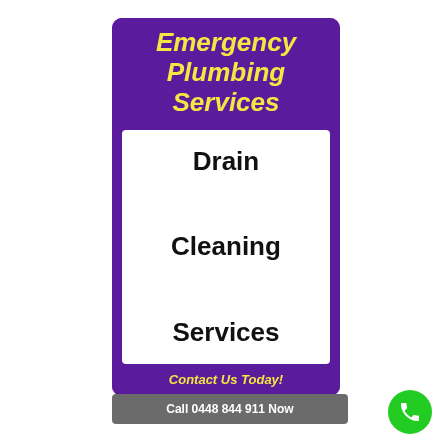Emergency Plumbing Services
Drain Cleaning Services
Contact Us Today!
0448 844 911
Call 0448 844 911 Now